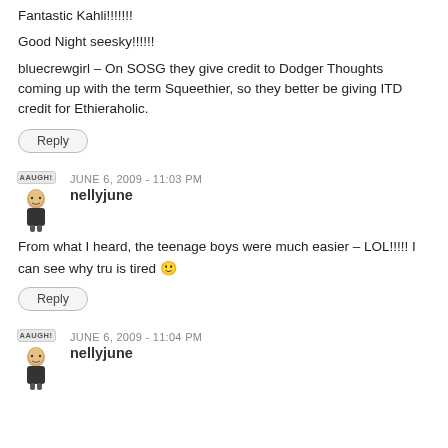Fantastic Kahli!!!!!!!
Good Night seesky!!!!!!
bluecrewgirl – On SOSG they give credit to Dodger Thoughts coming up with the term Squeethier, so they better be giving ITD credit for Ethieraholic.
Reply
JUNE 6, 2009 - 11:03 PM
nellyjune
From what I heard, the teenage boys were much easier – LOL!!!!! I can see why tru is tired 🙂
Reply
JUNE 6, 2009 - 11:04 PM
nellyjune